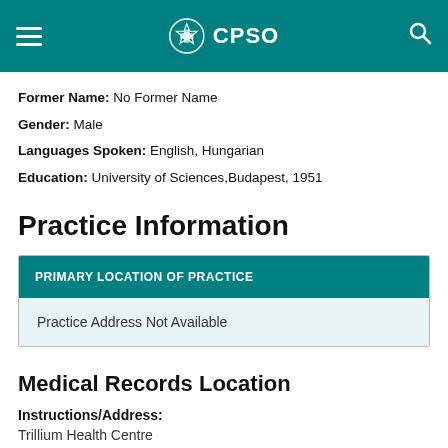CPSO
Former Name: No Former Name
Gender: Male
Languages Spoken: English, Hungarian
Education: University of Sciences,Budapest, 1951
Practice Information
| PRIMARY LOCATION OF PRACTICE |
| --- |
| Practice Address Not Available |
Medical Records Location
Instructions/Address:
Trillium Health Centre